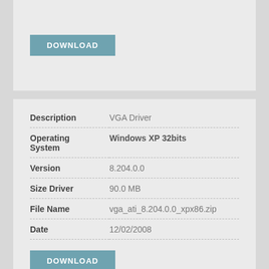[Figure (other): DOWNLOAD button (teal/blue-grey background, white bold uppercase text)]
| Field | Value |
| --- | --- |
| Description | VGA Driver |
| Operating System | Windows XP 32bits |
| Version | 8.204.0.0 |
| Size Driver | 90.0 MB |
| File Name | vga_ati_8.204.0.0_xpx86.zip |
| Date | 12/02/2008 |
[Figure (other): DOWNLOAD button (teal/blue-grey background, white bold uppercase text)]
| Field | Value |
| --- | --- |
| Description | Wireless LAN Driver |
| Operating System | Windows XP 32bits |